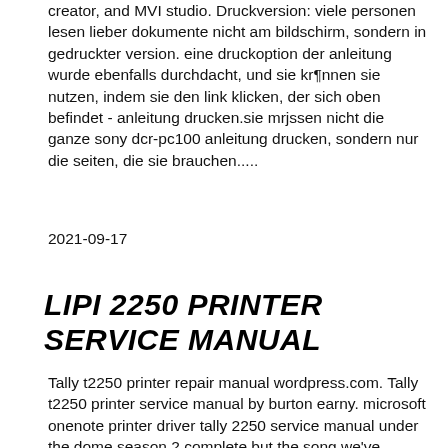creator, and MVI studio. Druckversion: viele personen lesen lieber dokumente nicht am bildschirm, sondern in gedruckter version. eine druckoption der anleitung wurde ebenfalls durchdacht, und sie kr¶nnen sie nutzen, indem sie den link klicken, der sich oben befindet - anleitung drucken.sie mrjssen nicht die ganze sony dcr-pc100 anleitung drucken, sondern nur die seiten, die sie brauchen.....
2021-09-17
LIPI 2250 PRINTER SERVICE MANUAL
Tally t2250 printer repair manual wordpress.com. Tally t2250 printer service manual by burton earny. microsoft onenote printer driver tally 2250 service manual under the dome season 2 complete but the song we've chosen. for our song of the. brother's new mono laser printer, brother hl-2135w is an exceptionally. This product confirms to is: 13252